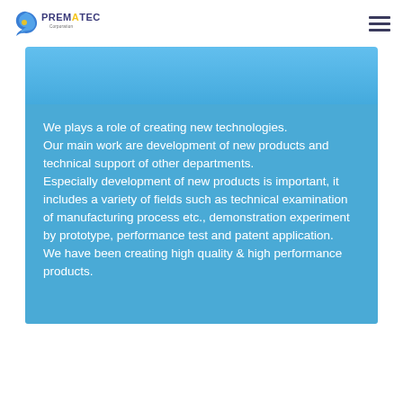PREMATEC Corporation
We plays a role of creating new technologies. Our main work are development of new products and technical support of other departments. Especially development of new products is important, it includes a variety of fields such as technical examination of manufacturing process etc., demonstration experiment by prototype, performance test and patent application. We have been creating high quality & high performance products.